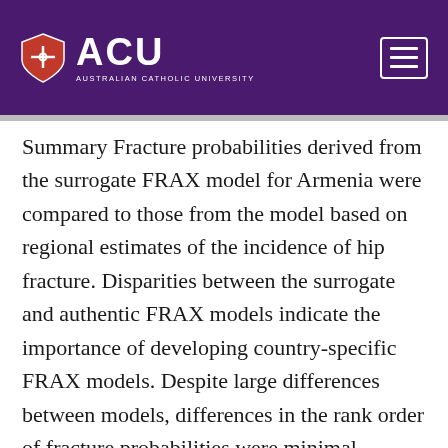ACU AUSTRALIAN CATHOLIC UNIVERSITY
Summary Fracture probabilities derived from the surrogate FRAX model for Armenia were compared to those from the model based on regional estimates of the incidence of hip fracture. Disparities between the surrogate and authentic FRAX models indicate the importance of developing country-specific FRAX models. Despite large differences between models, differences in the rank order of fracture probabilities were minimal. Objective Armenia has relied on a surrogate FRAX model based on the fracture epidemiology of Romania. This paper describes the epidemiology of fragility fractures in Armenia used to create an Armenia-specific FRAX model with an aim of comparing this new model with the surrogate model. Methods We carried out a population-based study in two